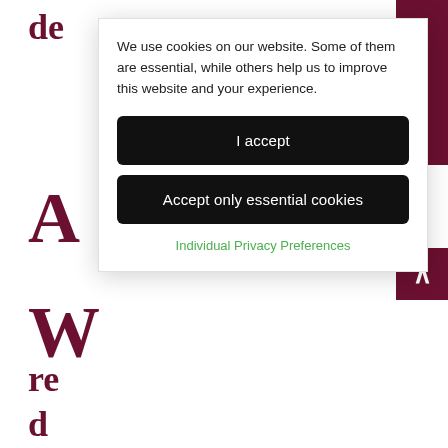de
We use cookies on our website. Some of them are essential, while others help us to improve this website and your experience.
I accept
Accept only essential cookies
Individual Privacy Preferences
g your business today. With your busy schedule in mind, you can even attend our courses on Saturdays. Once you've completed the course, you will continue to receive three months of free email and telephone support.
Register online today so both you and your practice can start reaping the benefits that come with offering professional Botulinum Toxin